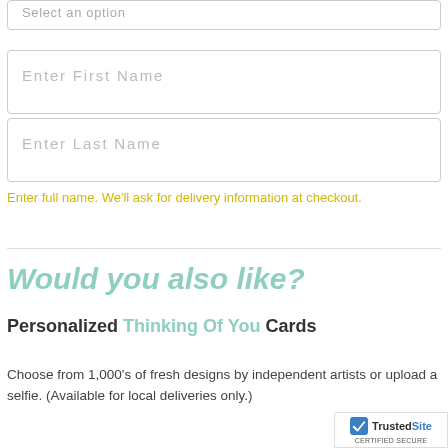[Figure (screenshot): Partial select dropdown input box with placeholder text 'Select an option']
[Figure (screenshot): Text input field with placeholder 'Enter First Name']
[Figure (screenshot): Text input field with placeholder 'Enter Last Name']
Enter full name. We'll ask for delivery information at checkout.
Would you also like?
Personalized Thinking Of You Cards
Choose from 1,000's of fresh designs by independent artists or upload a selfie. (Available for local deliveries only.)